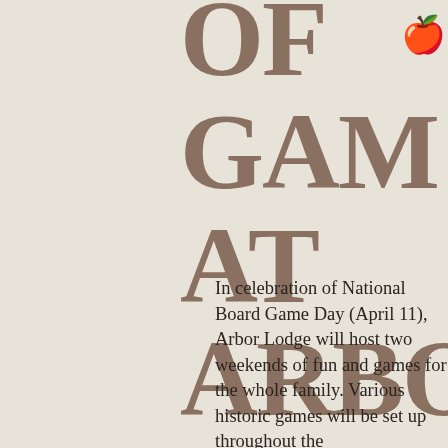OF GAMES AT ARBOR LODGE
In celebration of National Board Game Day (April 11), Arbor Lodge will host two weekends of fun and games for the whole family. Various historic games will be set up throughout the